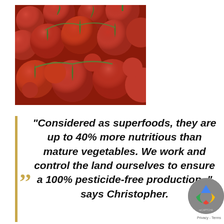[Figure (photo): Close-up photo of many red ripe tomatoes on the vine with green stems]
“Considered as superfoods, they are up to 40% more nutritious than mature vegetables. We work and control the land ourselves to ensure a 100% pesticide-free production, ” says Christopher.